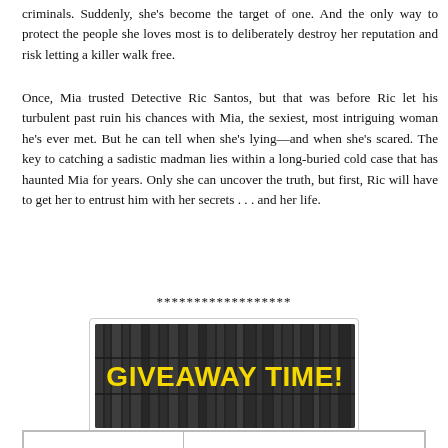criminals. Suddenly, she's become the target of one. And the only way to protect the people she loves most is to deliberately destroy her reputation and risk letting a killer walk free.
Once, Mia trusted Detective Ric Santos, but that was before Ric let his turbulent past ruin his chances with Mia, the sexiest, most intriguing woman he's ever met. But he can tell when she's lying—and when she's scared. The key to catching a sadistic madman lies within a long-buried cold case that has haunted Mia for years. Only she can uncover the truth, but first, Ric will have to get her to entrust him with her secrets . . . and her life.
******************
[Figure (illustration): A dark/grayscale image of bookshelves in the background with bold yellow text reading 'GIVEAWAY TIME!' centered on the image, inside a white-bordered card.]
|  |  |